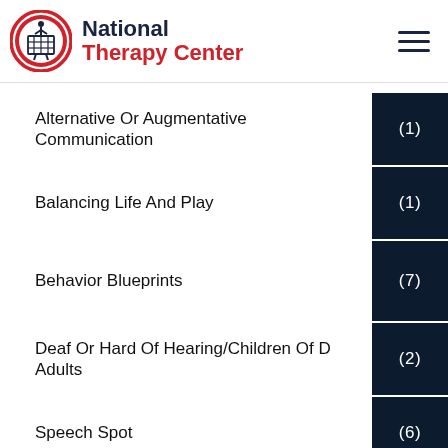National Therapy Center
Alternative Or Augmentative Communication (1)
Balancing Life And Play (1)
Behavior Blueprints (7)
Deaf Or Hard Of Hearing/Children Of Deaf Adults (2)
Speech Spot (6)
Table Blues (8)